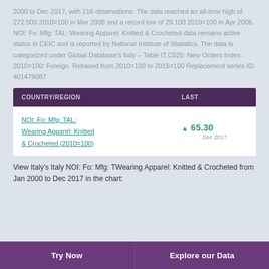2000 to Dec 2017, with 216 observations. The data reached an all-time high of 272.500 2010=100 in Mar 2008 and a record low of 29.100 2010=100 in Apr 2006. NOI: Fo: Mfg: TAL: Wearing Apparel: Knitted & Crocheted data remains active status in CEIC and is reported by National Institute of Statistics. The data is categorized under Global Database's Italy – Table IT.C025: New Orders Index: 2010=100: Foreign. Rebased from 2010=100 to 2015=100 Replacement series ID: 401479087
| COUNTRY/REGION | LAST |
| --- | --- |
| NOI: Fo: Mfg: TAL: Wearing Apparel: Knitted & Crocheted (2010=100) | ▲ 65.30
Dec 2017 |
View Italy's Italy NOI: Fo: Mfg: TWearing Apparel: Knitted & Crocheted from Jan 2000 to Dec 2017 in the chart:
Try Now    Explore our Data